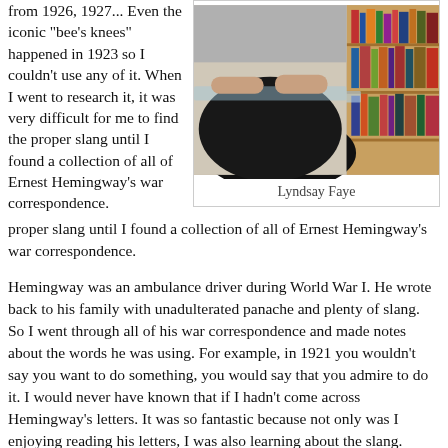from 1926, 1927... Even the iconic "bee's knees" happened in 1923 so I couldn't use any of it. When I went to research it, it was very difficult for me to find the proper slang until I found a collection of all of Ernest Hemingway's war correspondence.
[Figure (photo): Photo of a person (Lyndsay Faye) seated, with bookshelves visible in the background.]
Lyndsay Faye
Hemingway was an ambulance driver during World War I. He wrote back to his family with unadulterated panache and plenty of slang. So I went through all of his war correspondence and made notes about the words he was using. For example, in 1921 you wouldn't say you want to do something, you would say that you admire to do it. I would never have known that if I hadn't come across Hemingway's letters. It was so fantastic because not only was I enjoying reading his letters, I was also learning about the slang.